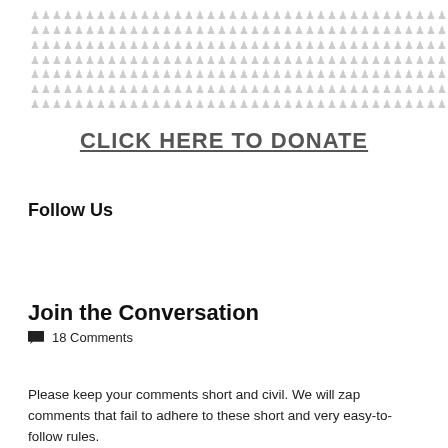[Figure (infographic): Grid of small person/figure icons in light gray, arranged in multiple rows]
CLICK HERE TO DONATE
Follow Us
Join the Conversation
18 Comments
Please keep your comments short and civil. We will zap comments that fail to adhere to these short and very easy-to-follow rules.